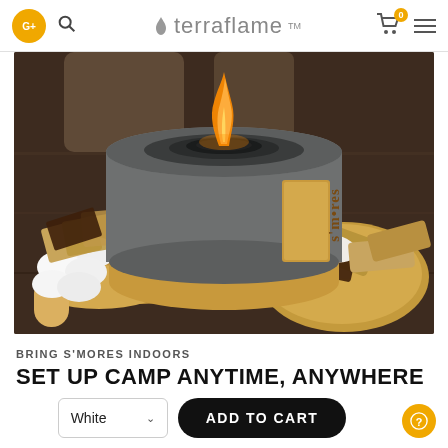terraflame™ — navigation header with logo, search, cart, and menu
[Figure (photo): A cylindrical tabletop firepit with gray concrete body and bamboo base/band labeled 's'mores', with a flame burning on top. Surrounded by marshmallows, graham crackers, chocolate, and s'mores on wooden boards against a dark wood table background.]
BRING S'MORES INDOORS
SET UP CAMP ANYTIME, ANYWHERE
White — ADD TO CART